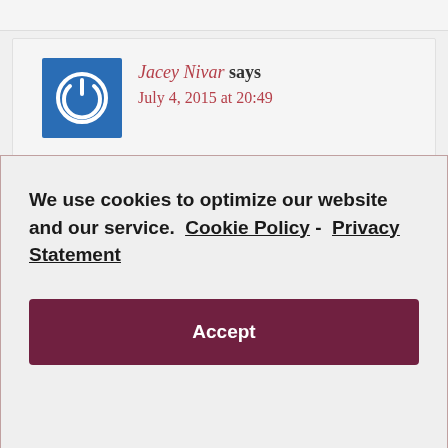[Figure (screenshot): Partial comment card at top of page, partially cropped]
Jacey Nivar says
July 4, 2015 at 20:49
We use cookies to optimize our website and our service.  Cookie Policy - Privacy Statement
Accept
depression when you feel like you're being picked on for stupid stuff.By the way,where in the handbook does it say he violated their policy? He's wearing a fade with a little fuzz on top or